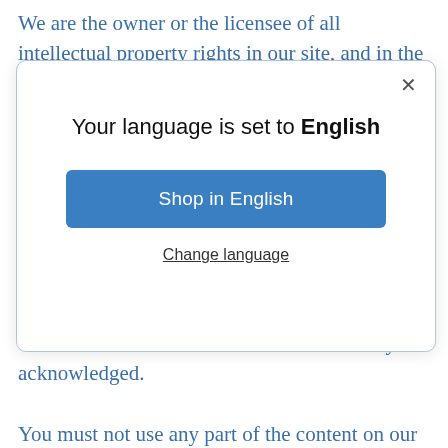We are the owner or the licensee of all intellectual property rights in our site, and in the material published on it. Those works are protected by copyright laws and treaties around the world. All
[Figure (screenshot): A modal dialog overlay with a close button (×), the title 'Your language is set to English', a blue 'Shop in English' button, and a 'Change language' underlined link.]
the authors of content on our site must always be acknowledged.
You must not use any part of the content on our